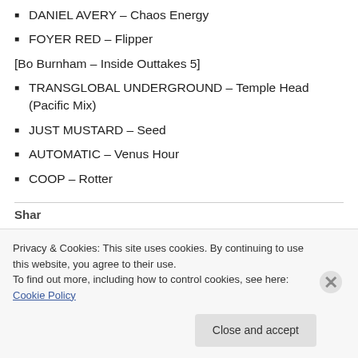DANIEL AVERY – Chaos Energy
FOYER RED – Flipper
[Bo Burnham – Inside Outtakes 5]
TRANSGLOBAL UNDERGROUND – Temple Head (Pacific Mix)
JUST MUSTARD – Seed
AUTOMATIC – Venus Hour
COOP – Rotter
Share this
Privacy & Cookies: This site uses cookies. By continuing to use this website, you agree to their use.
To find out more, including how to control cookies, see here: Cookie Policy